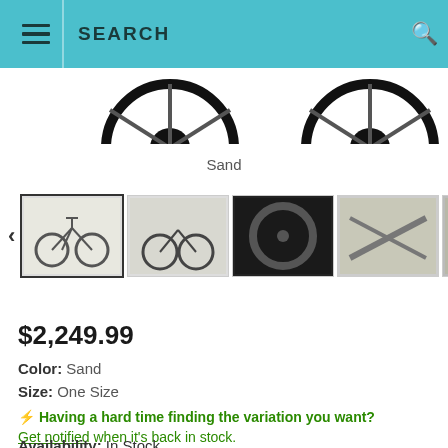SEARCH
[Figure (photo): Partial bike wheels visible at top of page]
Sand
[Figure (photo): Thumbnail image strip showing 8 bike product photos with left/right navigation arrows. First thumbnail (full bike side view) is selected/highlighted.]
$2,249.99
Color: Sand
Size: One Size
⚡ Having a hard time finding the variation you want? Get notified when it's back in stock.
Availability: In Stock